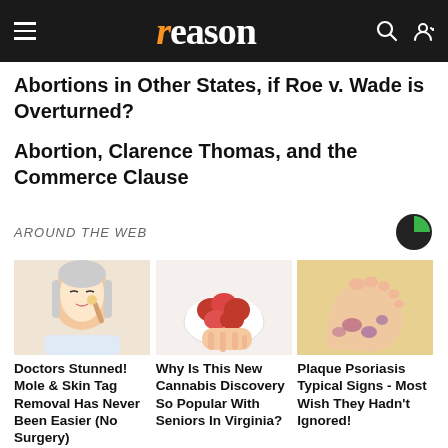reason
Abortions in Other States, if Roe v. Wade is Overturned?
Abortion, Clarence Thomas, and the Commerce Clause
AROUND THE WEB
[Figure (photo): Illustration of a woman applying something to her face with a tool]
Doctors Stunned! Mole & Skin Tag Removal Has Never Been Easier (No Surgery)
[Figure (photo): Photo of red gummy candies in a bowl being held]
Why Is This New Cannabis Discovery So Popular With Seniors In Virginia?
[Figure (photo): Photo of a foot showing psoriasis symptoms]
Plaque Psoriasis Typical Signs - Most Wish They Hadn't Ignored!